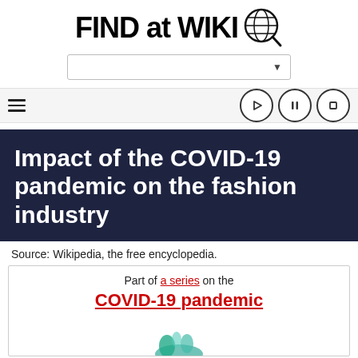FIND at WIKI
[Figure (screenshot): Search bar with dropdown arrow]
[Figure (screenshot): Navigation bar with hamburger menu and play/pause/stop icons]
Impact of the COVID-19 pandemic on the fashion industry
Source: Wikipedia, the free encyclopedia.
Part of a series on the COVID-19 pandemic